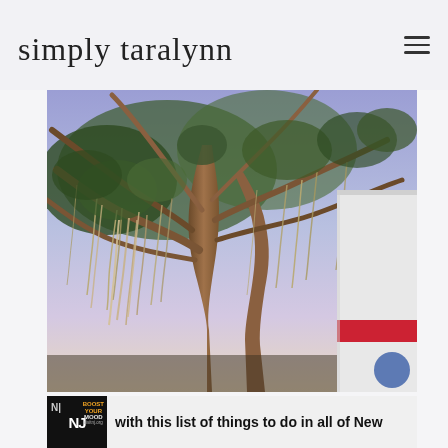simply taralynn
[Figure (photo): Outdoor photo of a large tree with Spanish moss hanging from its branches against a purple/blue sky at dusk or dawn, with part of a white and red structure visible on the right side]
with this list of things to do in all of New